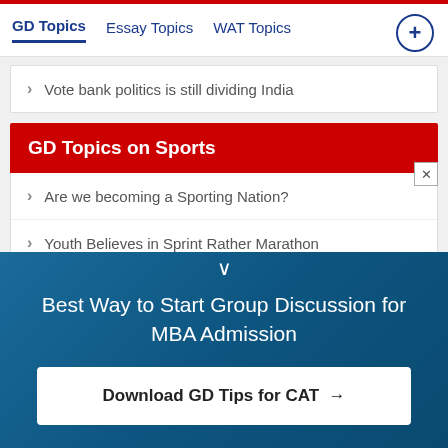GD Topics | Essay Topics | WAT Topics
Vote bank politics is still dividing India
GD Topics on Sports
Are we becoming a Sporting Nation?
Youth Believes in Sprint Rather Marathon
Can we say cricket is gentleman's game?
Best Way to Start Group Discussion for MBA Admission
Download GD Tips for CAT →